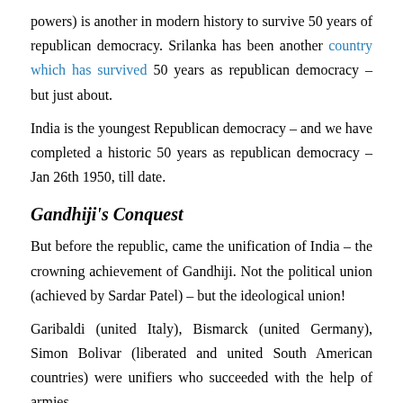powers) is another in modern history to survive 50 years of republican democracy. Srilanka has been another country which has survived 50 years as republican democracy – but just about.
India is the youngest Republican democracy – and we have completed a historic 50 years as republican democracy – Jan 26th 1950, till date.
Gandhiji's Conquest
But before the republic, came the unification of India – the crowning achievement of Gandhiji. Not the political union (achieved by Sardar Patel) – but the ideological union!
Garibaldi (united Italy), Bismarck (united Germany), Simon Bolivar (liberated and united South American countries) were unifiers who succeeded with the help of armies.